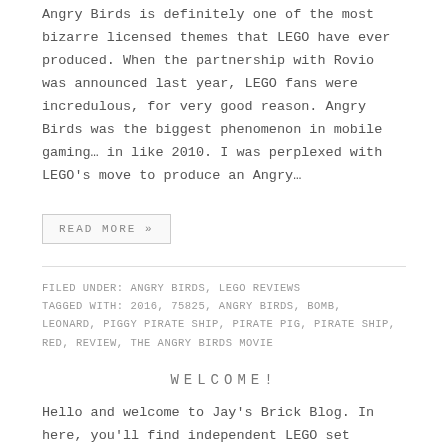Angry Birds is definitely one of the most bizarre licensed themes that LEGO have ever produced. When the partnership with Rovio was announced last year, LEGO fans were incredulous, for very good reason. Angry Birds was the biggest phenomenon in mobile gaming… in like 2010. I was perplexed with LEGO's move to produce an Angry…
READ MORE »
FILED UNDER: ANGRY BIRDS, LEGO REVIEWS
TAGGED WITH: 2016, 75825, ANGRY BIRDS, BOMB, LEONARD, PIGGY PIRATE SHIP, PIRATE PIG, PIRATE SHIP, RED, REVIEW, THE ANGRY BIRDS MOVIE
WELCOME!
Hello and welcome to Jay's Brick Blog. In here, you'll find independent LEGO set reviews, commentary on LEGO...